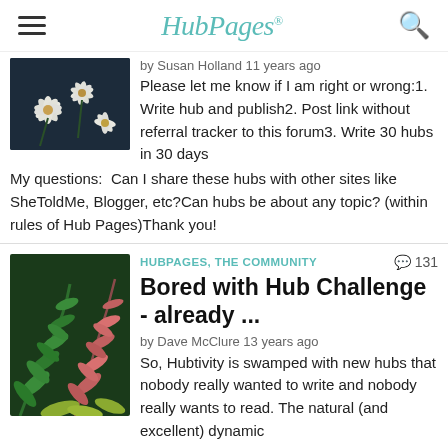HubPages
by Susan Holland 11 years ago
Please let me know if I am right or wrong:1. Write hub and publish2. Post link without referral tracker to this forum3. Write 30 hubs in 30 daysMy questions:  Can I share these hubs with other sites like SheToldMe, Blogger, etc?Can hubs be about any topic? (within rules of Hub Pages)Thank you!
[Figure (photo): Close-up photo of white daisy flowers]
HUBPAGES, THE COMMUNITY  131
Bored with Hub Challenge - already ...
by Dave McClure 13 years ago
So, Hubtivity is swamped with new hubs that nobody really wanted to write and nobody really wants to read. The natural (and excellent) dynamic of this Great Domain is destroyed. And those of us who have work to do or are less than competitive by nature can only sit back and wait for the feeding...
[Figure (photo): Close-up photo of colorful fern leaves with pink, green, and yellow tones]